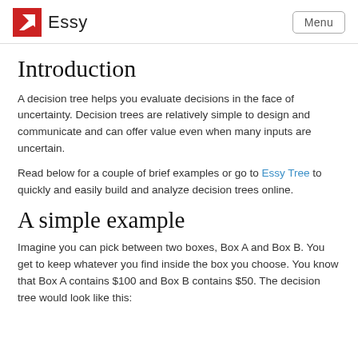Essy | Menu
Introduction
A decision tree helps you evaluate decisions in the face of uncertainty. Decision trees are relatively simple to design and communicate and can offer value even when many inputs are uncertain.
Read below for a couple of brief examples or go to Essy Tree to quickly and easily build and analyze decision trees online.
A simple example
Imagine you can pick between two boxes, Box A and Box B. You get to keep whatever you find inside the box you choose. You know that Box A contains $100 and Box B contains $50. The decision tree would look like this: